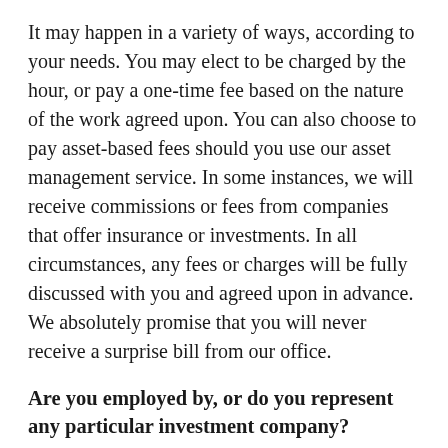It may happen in a variety of ways, according to your needs. You may elect to be charged by the hour, or pay a one-time fee based on the nature of the work agreed upon. You can also choose to pay asset-based fees should you use our asset management service. In some instances, we will receive commissions or fees from companies that offer insurance or investments. In all circumstances, any fees or charges will be fully discussed with you and agreed upon in advance. We absolutely promise that you will never receive a surprise bill from our office.
Are you employed by, or do you represent any particular investment company?
We are an independent financial services firm, which represents scores of companies offering financial products and strategies. We work independently of